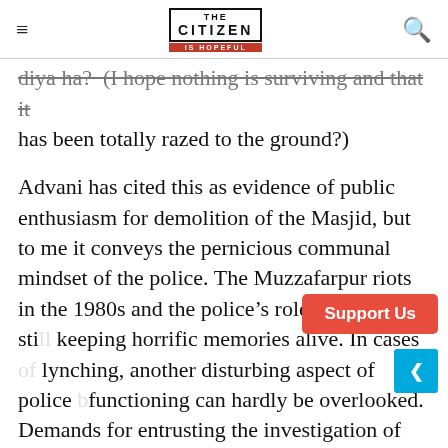THE CITIZEN IS HOPEFUL
diya ha? (I hope nothing is surviving and that it has been totally razed to the ground?)
Advani has cited this as evidence of public enthusiasm for demolition of the Masjid, but to me it conveys the pernicious communal mindset of the police. The Muzzafarpur riots in the 1980s and the police's role therein is still keeping horrific memories alive. In cases of lynching, another disturbing aspect of police functioning can hardly be overlooked. Demands for entrusting the investigation of cases to police of other states are a significant pointer to